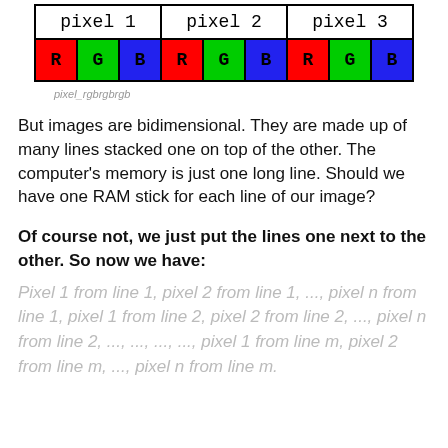[Figure (table-as-image): A diagram showing pixel layout in memory: pixel 1, pixel 2, pixel 3 each broken into R, G, B color components shown as colored cells.]
pixel_rgbrgbrgb
But images are bidimensional. They are made up of many lines stacked one on top of the other. The computer's memory is just one long line. Should we have one RAM stick for each line of our image?
Of course not, we just put the lines one next to the other. So now we have:
Pixel 1 from line 1, pixel 2 from line 1, ..., pixel n from line 1, pixel 1 from line 2, pixel 2 from line 2, ..., pixel n from line 2, ..., ..., ..., ..., pixel 1 from line m, pixel 2 from line m, ..., pixel n from line m.